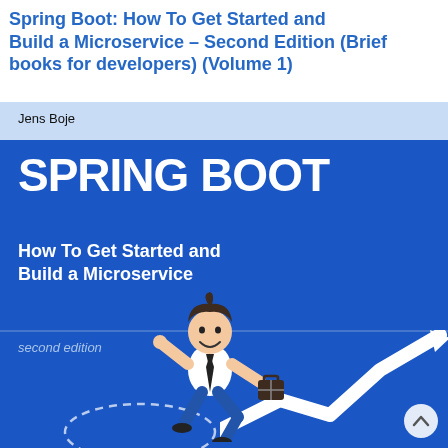Spring Boot: How To Get Started and Build a Microservice - Second Edition (Brief books for developers) (Volume 1)
[Figure (illustration): Book cover for 'Spring Boot: How To Get Started and Build a Microservice, Second Edition' by Jens Boje. Blue cover with large bold white 'SPRING BOOT' title, subtitle 'How To Get Started and Build a Microservice', italic 'second edition' text, a cartoon businessman running/jumping figure, a white zigzag arrow graphic, and a dashed circle arc at bottom.]